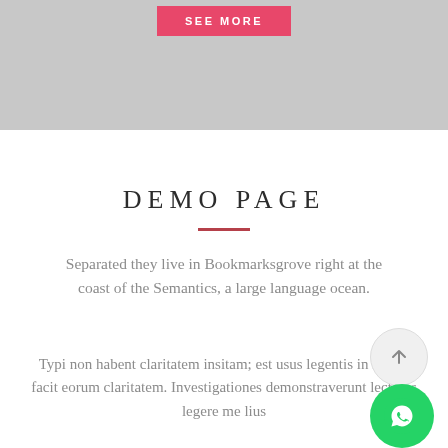[Figure (other): Gray banner section at top with a pink/red 'SEE MORE' button]
DEMO PAGE
Separated they live in Bookmarksgrove right at the coast of the Semantics, a large language ocean.
Typi non habent claritatem insitam; est usus legentis in iis qui facit eorum claritatem. Investigationes demonstraverunt lectores legere me lius
[Figure (other): Circular scroll-to-top button with upward arrow]
[Figure (other): Green WhatsApp circular button with phone icon]